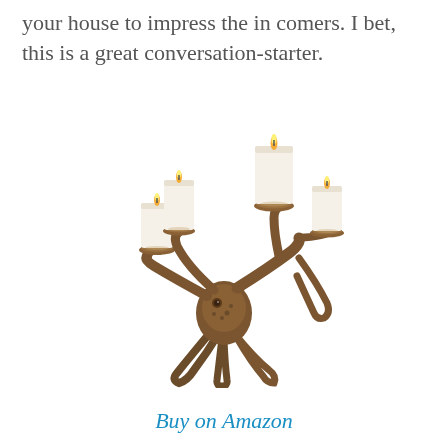your house to impress the in comers. I bet, this is a great conversation-starter.
[Figure (photo): Bronze octopus candelabra holding five white pillar candles on its tentacle tips, displayed on a white background.]
Buy on Amazon